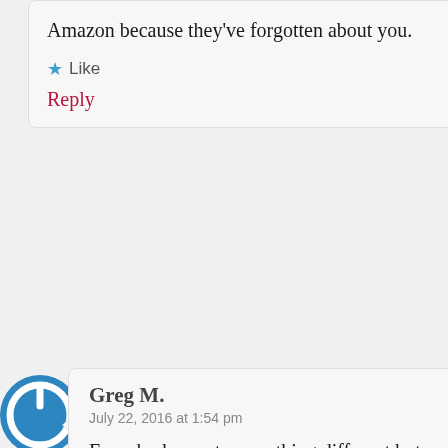Amazon because they've forgotten about you.
Like
Reply
[Figure (logo): Blue circular power button icon (Gravatar avatar for Greg M.)]
Greg M.
July 22, 2016 at 1:54 pm
Everybody wants something different but everything can't be on the menu. David wants an all bold option, some one else wants vertical scrolling, and I want to eliminate forced ragged right and forced extra wide margins. I'm sure there are